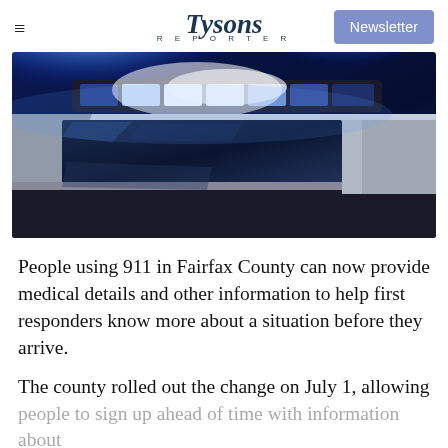Tysons Reporter | Newsletter
[Figure (photo): Close-up photograph of a police car roof with blue emergency lights illuminated brightly against a dark background, showing the light bar and car body.]
People using 911 in Fairfax County can now provide medical details and other information to help first responders know more about a situation before they arrive.
The county rolled out the change on July 1, allowing people to sign up ahead of time with information about a resident who has a special need or needs ranging from